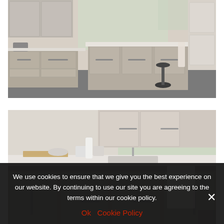[Figure (photo): Modern kitchen interior with taupe/greige flat-panel cabinets and drawers, white countertops, bar stools, and large window with garden view]
[Figure (photo): Close-up of a kitchen island with taupe/greige flat-panel cabinet doors, chrome bar handles, white countertop with sink, cutting board and kitchen items on top, towel hanging on the side]
We use cookies to ensure that we give you the best experience on our website. By continuing to use our site you are agreeing to the terms within our cookie policy.
Ok  Cookie Policy